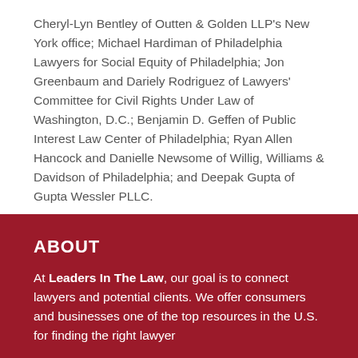Cheryl-Lyn Bentley of Outten & Golden LLP's New York office; Michael Hardiman of Philadelphia Lawyers for Social Equity of Philadelphia; Jon Greenbaum and Dariely Rodriguez of Lawyers' Committee for Civil Rights Under Law of Washington, D.C.; Benjamin D. Geffen of Public Interest Law Center of Philadelphia; Ryan Allen Hancock and Danielle Newsome of Willig, Williams & Davidson of Philadelphia; and Deepak Gupta of Gupta Wessler PLLC.
ABOUT
At Leaders In The Law, our goal is to connect lawyers and potential clients. We offer consumers and businesses one of the top resources in the U.S. for finding the right lawyer